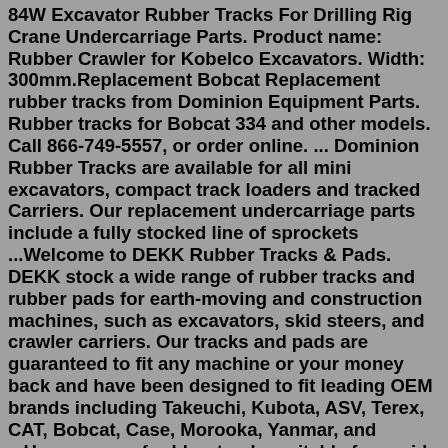84W Excavator Rubber Tracks For Drilling Rig Crane Undercarriage Parts. Product name: Rubber Crawler for Kobelco Excavators. Width: 300mm.Replacement Bobcat Replacement rubber tracks from Dominion Equipment Parts. Rubber tracks for Bobcat 334 and other models. Call 866-749-5557, or order online. ... Dominion Rubber Tracks are available for all mini excavators, compact track loaders and tracked Carriers. Our replacement undercarriage parts include a fully stocked line of sprockets ...Welcome to DEKK Rubber Tracks & Pads. DEKK stock a wide range of rubber tracks and rubber pads for earth-moving and construction machines, such as excavators, skid steers, and crawler carriers. Our tracks and pads are guaranteed to fit any machine or your money back and have been designed to fit leading OEM brands including Takeuchi, Kubota, ASV, Terex, CAT, Bobcat, Case, Morooka, Yanmar, and ...Huge range of rubber tracks suitable for a wide range of excavators skid steer loaders and tracked dumpers. Our rubber tracks are